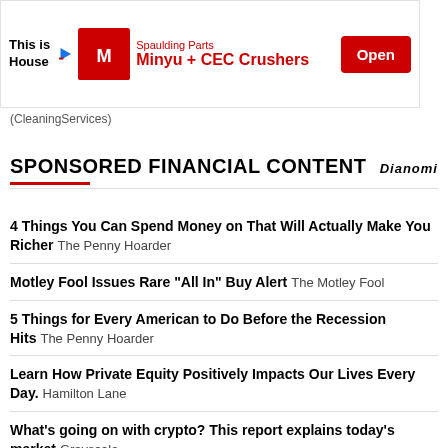[Figure (other): Advertisement banner for Minyu + CEC Crushers by Spaulding Parts with an Open button]
(CleaningServices)
SPONSORED FINANCIAL CONTENT
4 Things You Can Spend Money on That Will Actually Make You Richer  The Penny Hoarder
Motley Fool Issues Rare "All In" Buy Alert  The Motley Fool
5 Things for Every American to Do Before the Recession Hits  The Penny Hoarder
Learn How Private Equity Positively Impacts Our Lives Every Day.  Hamilton Lane
What's going on with crypto? This report explains today's market  Grayscale
Hands Down One of the Best Cards for Good Credit  The Ascent
New EV Set to Disrupt Entire Industry  Empire Financial Research